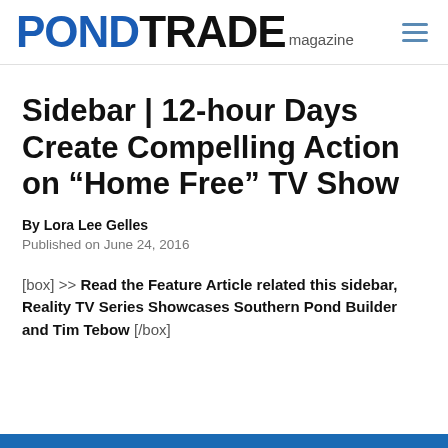PONDTRADE magazine
Sidebar | 12-hour Days Create Compelling Action on “Home Free” TV Show
By Lora Lee Gelles
Published on June 24, 2016
[box] >> Read the Feature Article related this sidebar, Reality TV Series Showcases Southern Pond Builder and Tim Tebow [/box]
[Figure (photo): Partial image visible at bottom of page]